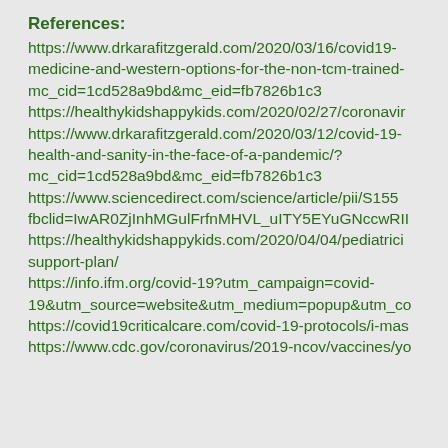References:
https://www.drkarafitzgerald.com/2020/03/16/covid19-medicine-and-western-options-for-the-non-tcm-trained-mc_cid=1cd528a9bd&mc_eid=fb7826b1c3 https://healthykidshappykids.com/2020/02/27/coronavir https://www.drkarafitzgerald.com/2020/03/12/covid-19-health-and-sanity-in-the-face-of-a-pandemic/?mc_cid=1cd528a9bd&mc_eid=fb7826b1c3 https://www.sciencedirect.com/science/article/pii/S155 fbclid=IwAR0ZjInhMGulFrfnMHVL_uITY5EYuGNccwRII https://healthykidshappykids.com/2020/04/04/pediatrici support-plan/ https://info.ifm.org/covid-19?utm_campaign=covid-19&utm_source=website&utm_medium=popup&utm_co https://covid19criticalcare.com/covid-19-protocols/i-mas https://www.cdc.gov/coronavirus/2019-ncov/vaccines/yo